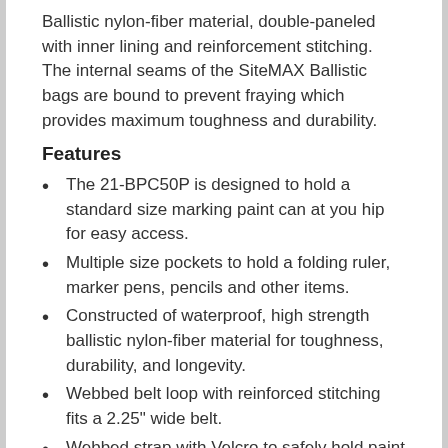Ballistic nylon-fiber material, double-paneled with inner lining and reinforcement stitching. The internal seams of the SiteMAX Ballistic bags are bound to prevent fraying which provides maximum toughness and durability.
Features
The 21-BPC50P is designed to hold a standard size marking paint can at you hip for easy access.
Multiple size pockets to hold a folding ruler, marker pens, pencils and other items.
Constructed of waterproof, high strength ballistic nylon-fiber material for toughness, durability, and longevity.
Webbed belt loop with reinforced stitching fits a 2.25" wide belt.
Webbed strap with Velcro to safely hold paint can in place.
Overall Size: 7.5" x 3"
Weight: .25 LB